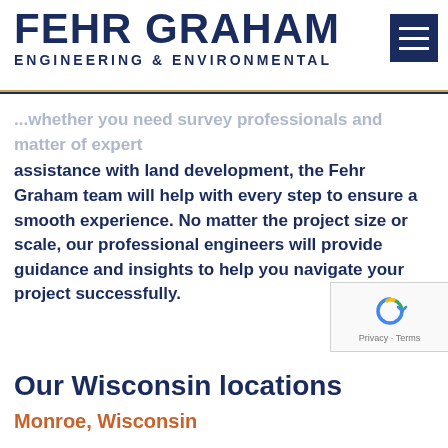[Figure (logo): Fehr Graham Engineering & Environmental logo with dark navy text and orange underline, plus navy hamburger menu button]
...whether you need survey professionals and matter of expert assistance with land development, the Fehr Graham team will help with every step to ensure a smooth experience. No matter the project size or scale, our professional engineers will provide guidance and insights to help you navigate your project successfully.
[Figure (other): reCAPTCHA badge with Privacy and Terms links]
Meet our team
Our Wisconsin locations
Monroe, Wisconsin